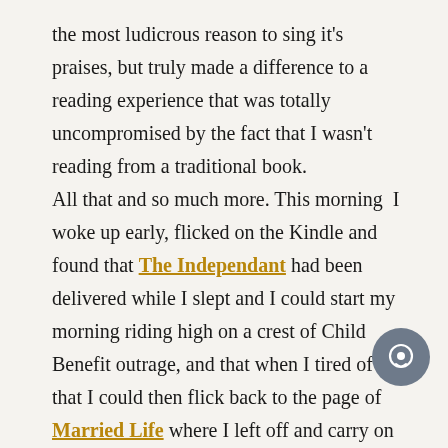the most ludicrous reason to sing it's praises, but truly made a difference to a reading experience that was totally uncompromised by the fact that I wasn't reading from a traditional book. All that and so much more. This morning I woke up early, flicked on the Kindle and found that The Independant had been delivered while I slept and I could start my morning riding high on a crest of Child Benefit outrage, and that when I tired of that I could then flick back to the page of Married Life where I left off and carry on reading, blissfully, quietly and oh so very happily. Other Kindle thrills? Instant access to my email through the browser. The sound of a man I have christened Harold who will read my books out loud to
[Figure (other): Chat/comment button icon — circular grey button with speech bubble icon]